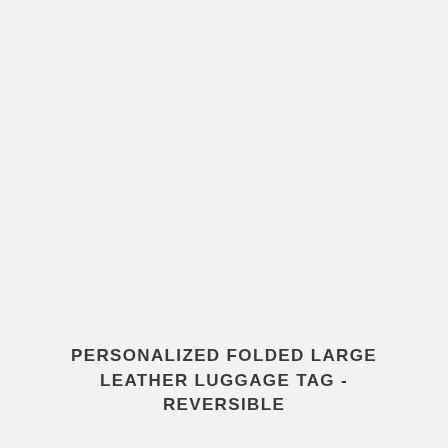PERSONALIZED FOLDED LARGE LEATHER LUGGAGE TAG - REVERSIBLE